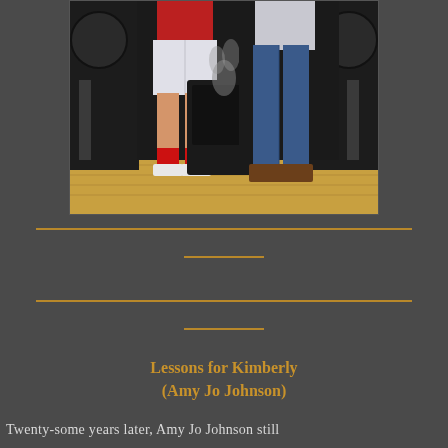[Figure (photo): Cropped photo showing lower bodies of two people standing on a wooden stage floor. Left person wears white shorts, red top, red socks and white sneakers. Right person wears blue jeans and brown boots. A dark amplifier with smoke sits between them. Guitar necks visible at edges.]
Lessons for Kimberly
(Amy Jo Johnson)
Twenty-some years later, Amy Jo Johnson still